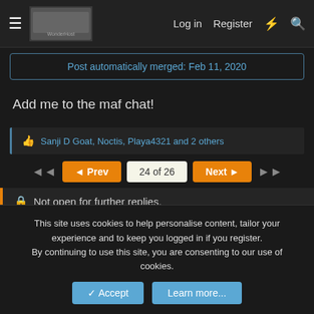Log in  Register
Post automatically merged: Feb 11, 2020
Add me to the maf chat!
Sanji D Goat, Noctis, Playa4321 and 2 others
◄◄  ◄ Prev  24 of 26  Next ►  ►►
Not open for further replies.
Share:
‹ Light Games
This site uses cookies to help personalise content, tailor your experience and to keep you logged in if you register.
By continuing to use this site, you are consenting to our use of cookies.
Accept  Learn more...